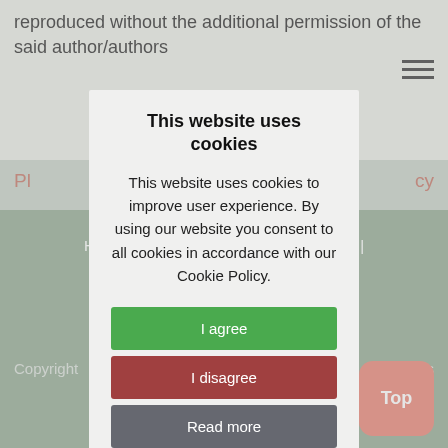reproduced without the additional permission of the said author/authors
Pl... cy
Home | About... onservation | Parrot Inform... Only | Contact Us | Support... | Follow Us |
Copyright... All rights
This website uses cookies
This website uses cookies to improve user experience. By using our website you consent to all cookies in accordance with our Cookie Policy.
I agree
I disagree
Read more
Top